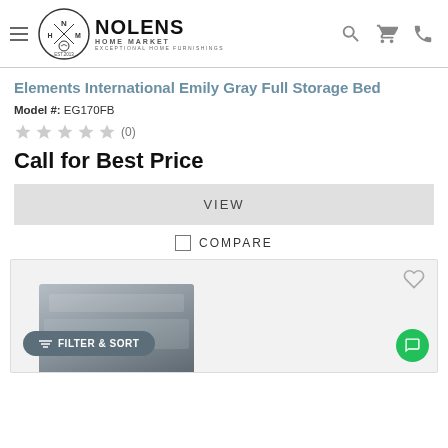Nolens Home Market - Exceptional Home Furnishings
Elements International Emily Gray Full Storage Bed
Model #: EG170FB
(0) stars
Call for Best Price
VIEW
COMPARE
[Figure (photo): Bottom portion of a second product card showing a gray storage bed image, a Filter & Sort button, and a chat bubble icon]